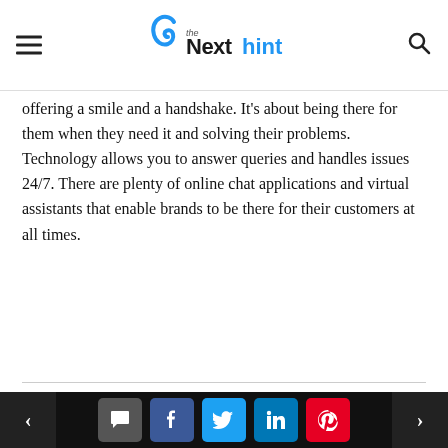The Next Hint
offering a smile and a handshake. It's about being there for them when they need it and solving their problems. Technology allows you to answer queries and handles issues 24/7. There are plenty of online chat applications and virtual assistants that enable brands to be there for their customers at all times.
You may also like
[Figure (photo): Dark technology-themed image with blue circuit overlay and a hand, with BUSINESS badge and partial title 'Should Executives Care']